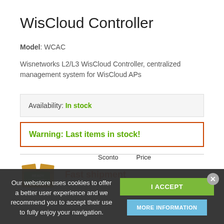WisCloud Controller
Model: WCAC
Wisnetworks L2/L3 WisCloud Controller, centralized management system for WisCloud APs
Availability: In stock
Warning: Last items in stock!
[Figure (illustration): Ready to Ship package icon with green label]
Fast shipment
Our webstore uses cookies to offer a better user experience and we recommend you to accept their use to fully enjoy your navigation.
I ACCEPT
MORE INFORMATION
Sconto   Price